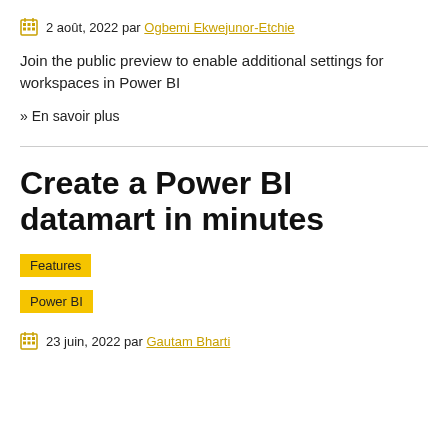2 août, 2022 par Ogbemi Ekwejunor-Etchie
Join the public preview to enable additional settings for workspaces in Power BI
» En savoir plus
Create a Power BI datamart in minutes
Features
Power BI
23 juin, 2022 par Gautam Bharti